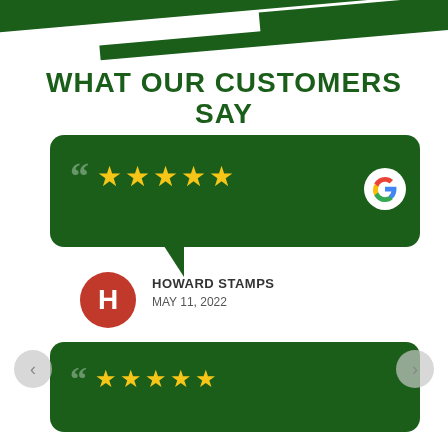WHAT OUR CUSTOMERS SAY
[Figure (illustration): Green speech bubble with quotation marks and 5 yellow stars, Google G logo in bottom right corner]
HOWARD STAMPS
MAY 11, 2022
[Figure (illustration): Second green speech bubble with quotation marks and 5 yellow stars (partially visible)]